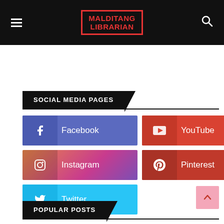MALDITANG LIBRARIAN
SOCIAL MEDIA PAGES
Facebook
YouTube
Instagram
Pinterest
Twitter
POPULAR POSTS